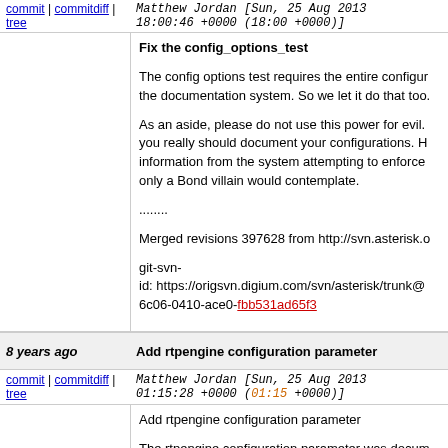commit | commitdiff | tree   Matthew Jordan [Sun, 25 Aug 2013 18:00:46 +0000 (18:00 +0000)]
Fix the config_options_test

The config options test requires the entire configuration of the documentation system. So we let it do that too.

As an aside, please do not use this power for evil. you really should document your configurations. H information from the system attempting to enforce only a Bond villain would contemplate.
........

Merged revisions 397628 from http://svn.asterisk.o

git-svn-
id: https://origsvn.digium.com/svn/asterisk/trunk@
6c06-0410-ace0-fbb531ad65f3
8 years ago   Add rtpengine configuration parameter
commit | commitdiff | tree   Matthew Jordan [Sun, 25 Aug 2013 01:15:28 +0000 (01:15 +0000)]
Add rtpengine configuration parameter

The rtpengine configuration parameter was documented but it was not actually registered with the sorcery configuration parameter with a default of "asterisk", such that re